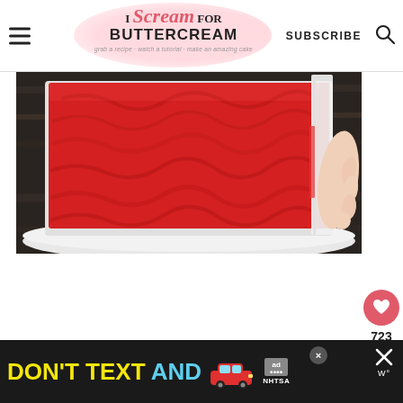I Scream for Buttercream — grab a recipe · watch a tutorial · make an amazing cake | SUBSCRIBE
[Figure (photo): A rectangular red-frosted sheet cake on a white cake board being smoothed with a bench scraper by a hand, photographed from above on a dark wooden surface.]
723
[Figure (infographic): Advertisement banner: DON'T TEXT AND [drive] with a red cartoon car graphic, ad badge, and NHTSA logo on black background.]